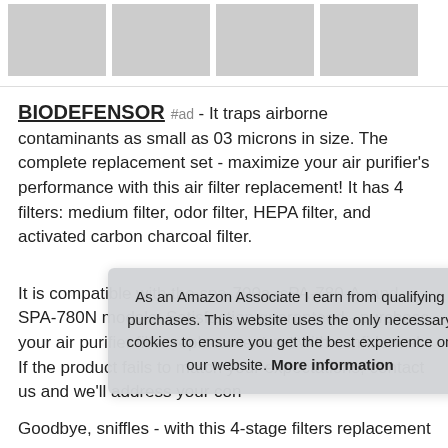[Figure (screenshot): Row of four product thumbnail images for air purifier filter products]
BIODEFENSOR #ad - It traps airborne contaminants as small as 03 microns in size. The complete replacement set - maximize your air purifier's performance with this air filter replacement! It has 4 filters: medium filter, odor filter, HEPA filter, and activated carbon charcoal filter.
It is compatible with the spa-700a, sPA-780-A, and SPA-780N models. Satisfaction guaranteed - purchase your air purifier filter replacement set with confidence! If the product fails to match your expectations, contact us and we'll address your con
As an Amazon Associate I earn from qualifying purchases. This website uses the only necessary cookies to ensure you get the best experience on our website. More information
Goodbye, sniffles - with this 4-stage filters replacement